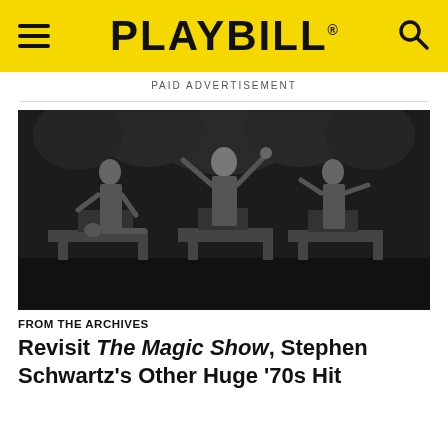PLAYBILL
PAID ADVERTISEMENT
[Figure (photo): Black and white stage photo from The Magic Show showing performers on stage, one with arms raised, others around magic props and boxes, with ornate backdrop]
FROM THE ARCHIVES
Revisit The Magic Show, Stephen Schwartz's Other Huge '70s Hit